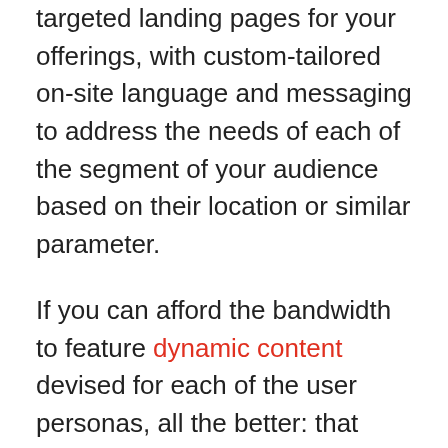targeted landing pages for your offerings, with custom-tailored on-site language and messaging to address the needs of each of the segment of your audience based on their location or similar parameter.
If you can afford the bandwidth to feature dynamic content devised for each of the user personas, all the better: that way, you'll hack viewer engagement immediately and present your brand as a trustworthy master of answers to all their queries, dilemmas, and needs.
To this end, you can use a custom domain to further accentuate the personal aspect of your